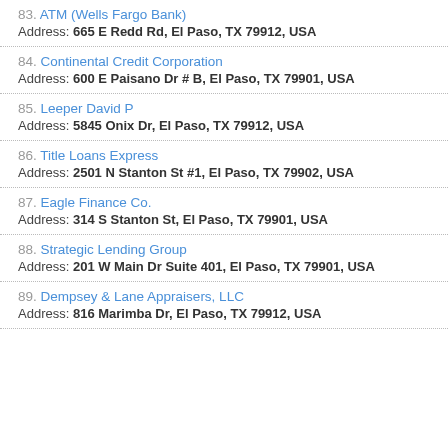83. ATM (Wells Fargo Bank)
Address: 665 E Redd Rd, El Paso, TX 79912, USA
84. Continental Credit Corporation
Address: 600 E Paisano Dr # B, El Paso, TX 79901, USA
85. Leeper David P
Address: 5845 Onix Dr, El Paso, TX 79912, USA
86. Title Loans Express
Address: 2501 N Stanton St #1, El Paso, TX 79902, USA
87. Eagle Finance Co.
Address: 314 S Stanton St, El Paso, TX 79901, USA
88. Strategic Lending Group
Address: 201 W Main Dr Suite 401, El Paso, TX 79901, USA
89. Dempsey & Lane Appraisers, LLC
Address: 816 Marimba Dr, El Paso, TX 79912, USA